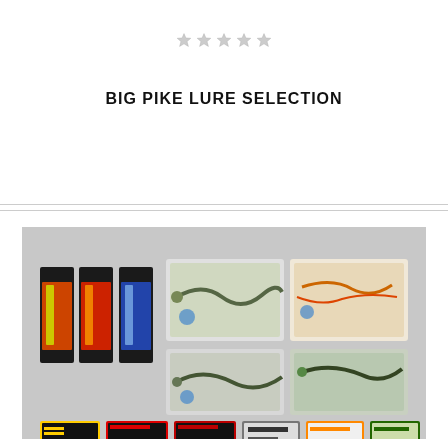[Figure (other): Five grey star rating icons arranged horizontally]
BIG PIKE LURE SELECTION
[Figure (photo): Product photo showing a collection of big pike fishing lures in their packaging, arranged on a grey surface. Includes various soft plastic lures, jig heads, and packaged lures from multiple brands, showing different colors and styles for pike fishing.]